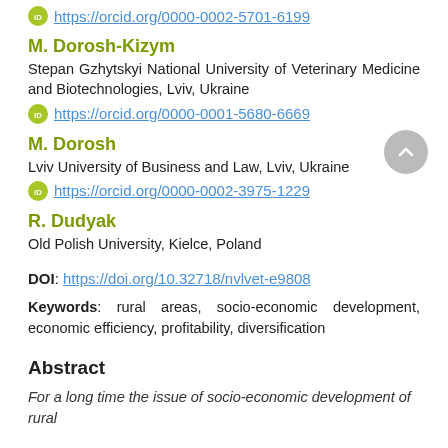https://orcid.org/0000-0002-5701-6199
M. Dorosh-Kizym
Stepan Gzhytskyi National University of Veterinary Medicine and Biotechnologies, Lviv, Ukraine
https://orcid.org/0000-0001-5680-6669
M. Dorosh
Lviv University of Business and Law, Lviv, Ukraine
https://orcid.org/0000-0002-3975-1229
R. Dudyak
Old Polish University, Kielce, Poland
DOI: https://doi.org/10.32718/nvlvet-e9808
Keywords: rural areas, socio-economic development, economic efficiency, profitability, diversification
Abstract
For a long time the issue of socio-economic development of rural